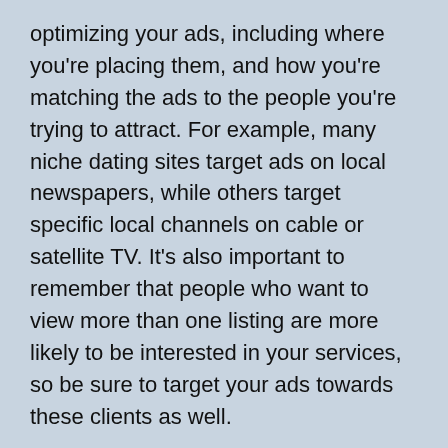optimizing your ads, including where you're placing them, and how you're matching the ads to the people you're trying to attract. For example, many niche dating sites target ads on local newspapers, while others target specific local channels on cable or satellite TV. It's also important to remember that people who want to view more than one listing are more likely to be interested in your services, so be sure to target your ads towards these clients as well.
These are just a few of the tricks and tips that you can employ when optimizing your ads to